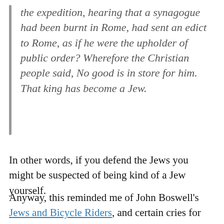the expedition, hearing that a synagogue had been burnt in Rome, had sent an edict to Rome, as if he were the upholder of public order? Wherefore the Christian people said, No good is in store for him. That king has become a Jew.
In other words, if you defend the Jews you might be suspected of being kind of a Jew yourself.
Anyway, this reminded me of John Boswell's Jews and Bicycle Riders, and certain cries for religious tolerance that are abroad in the land today...